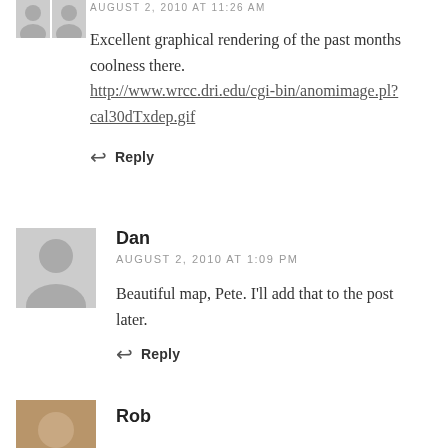AUGUST 2, 2010 AT 11:26 AM
Excellent graphical rendering of the past months coolness there. http://www.wrcc.dri.edu/cgi-bin/anomimage.pl?cal30dTxdep.gif
Reply
Dan
AUGUST 2, 2010 AT 1:09 PM
Beautiful map, Pete. I'll add that to the post later.
Reply
Rob